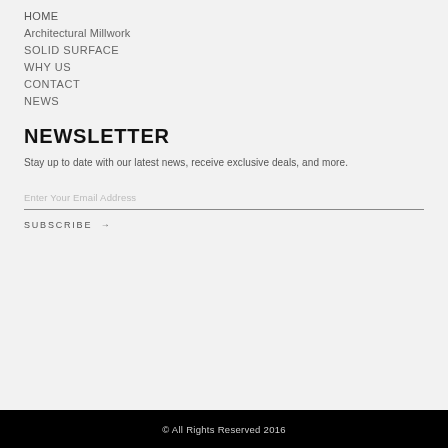HOME
Architectural Millwork
SOLID SURFACE
WHY US
CONTACT
NEWS
NEWSLETTER
Stay up to date with our latest news, receive exclusive deals, and more.
Enter Your Email Address
SUBSCRIBE →
© All Rights Reserved 2016